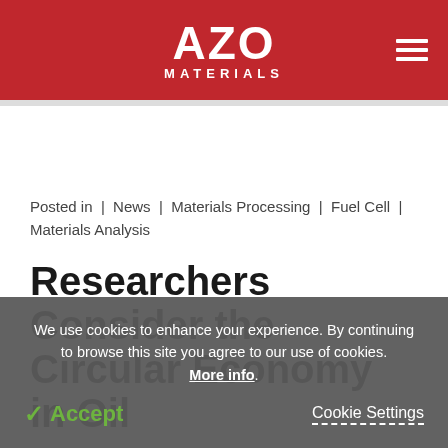AZO MATERIALS
Posted in | News | Materials Processing | Fuel Cell | Materials Analysis
Researchers Consider the Circular Economy in Oil
We use cookies to enhance your experience. By continuing to browse this site you agree to our use of cookies. More info.
✓ Accept   Cookie Settings